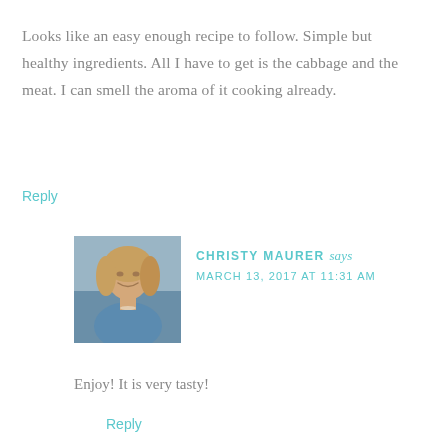Looks like an easy enough recipe to follow. Simple but healthy ingredients. All I have to get is the cabbage and the meat. I can smell the aroma of it cooking already.
Reply
[Figure (photo): Profile photo of Christy Maurer, a woman with blonde hair wearing a blue top, smiling at an event.]
CHRISTY MAURER says
MARCH 13, 2017 AT 11:31 AM
Enjoy! It is very tasty!
Reply